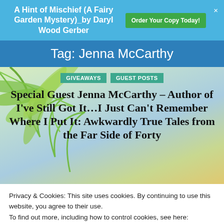A Hint of Mischief (A Fairy Garden Mystery)_by Daryl Wood Gerber | Order Your Copy Today!
Tag: Jenna McCarthy
GIVEAWAYS  GUEST POSTS
Special Guest Jenna McCarthy – Author of I've Still Got It…I Just Can't Remember Where I Put It: Awkwardly True Tales from the Far Side of Forty
Privacy & Cookies: This site uses cookies. By continuing to use this website, you agree to their use.
To find out more, including how to control cookies, see here: Cookie Policy
Close and accept